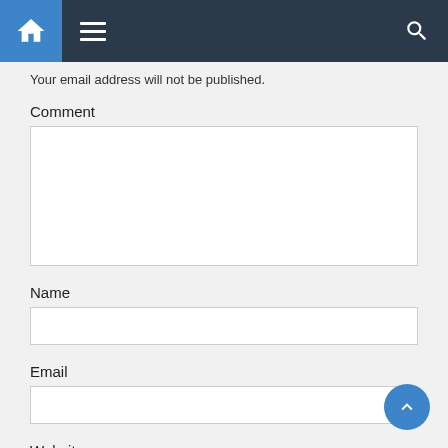[Figure (screenshot): Navigation bar with home icon (blue background), hamburger menu, and search icon on dark background]
Your email address will not be published.
Comment
Name
Email
Website